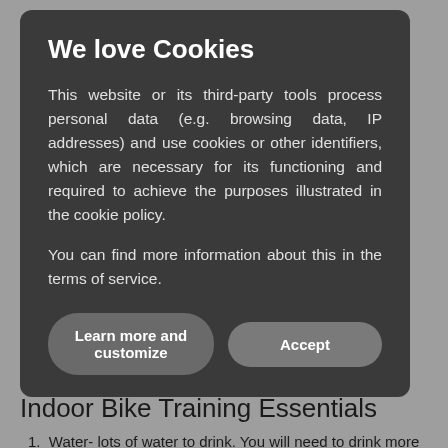We love Cookies
This website or its third-party tools process personal data (e.g. browsing data, IP addresses) and use cookies or other identifiers, which are necessary for its functioning and required to achieve the purposes illustrated in the cookie policy.
You can find more information about this in the terms of service.
Learn more and customize
Accept
some accessories to make your ride comfortable indoors.
Indoor Bike Training Essentials
Water- lots of water to drink. You will need to drink more water than you do outside due to the excessive sweating.